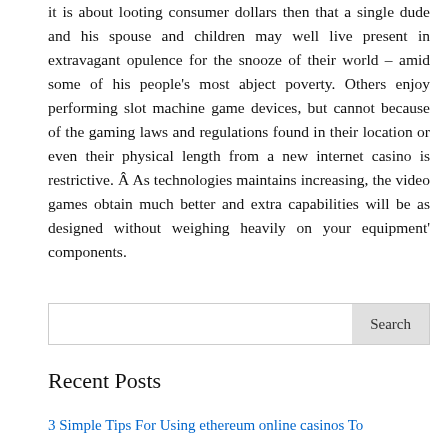it is about looting consumer dollars then that a single dude and his spouse and children may well live present in extravagant opulence for the snooze of their world – amid some of his people's most abject poverty. Others enjoy performing slot machine game devices, but cannot because of the gaming laws and regulations found in their location or even their physical length from a new internet casino is restrictive. Â As technologies maintains increasing, the video games obtain much better and extra capabilities will be as designed without weighing heavily on your equipment' components.
Search
Recent Posts
3 Simple Tips For Using ethereum online casinos To